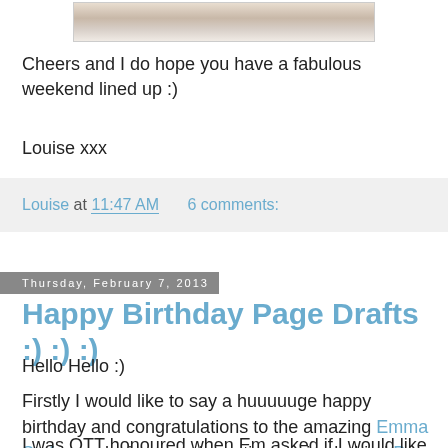[Figure (photo): Partial photograph visible at top of page, appears to be a cropped image in a bordered frame]
Cheers and I do hope you have a fabulous weekend lined up :)
Louise xxx
Louise at 11:47 AM    6 comments:
Thursday, February 7, 2013
Happy Birthday Page Drafts :) :) :)
Hello Hello :)
Firstly I would like to say a huuuuuge happy birthday and congratulations to the amazing Emma Stafrace, designer and creative genius behind Page Drafts which is celebrating its first birthday to day :)!
I was OTT honoured when Em asked if I would like to